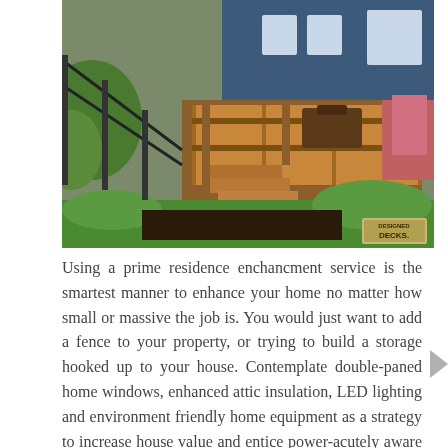[Figure (photo): Outdoor wooden deck with stairs attached to a blue house, surrounded by green landscaping and garden. A watermark reading 'DECKS' is visible in the bottom right corner of the photo.]
Using a prime residence enchancment service is the smartest manner to enhance your home no matter how small or massive the job is. You would just want to add a fence to your property, or trying to build a storage hooked up to your house. Contemplate double-paned home windows, enhanced attic insulation, LED lighting and environment friendly home equipment as a strategy to increase house value and entice power-acutely aware consumers.